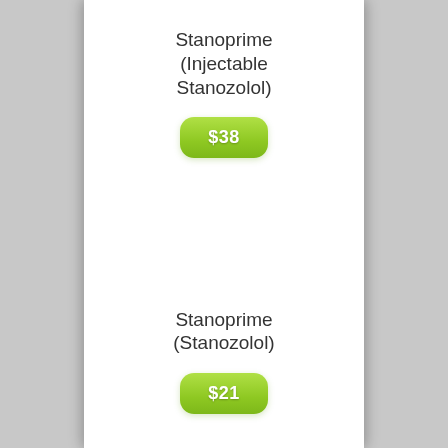Stanoprime (Injectable Stanozolol)
$38
Stanoprime (Stanozolol)
$21